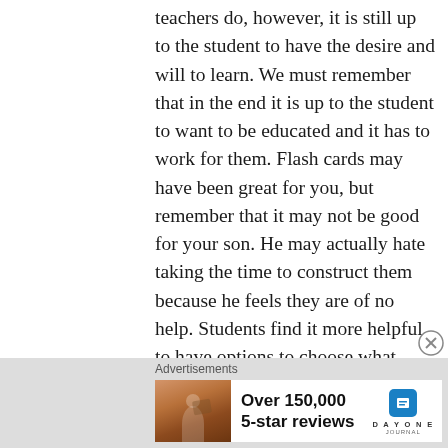teachers do, however, it is still up to the student to have the desire and will to learn. We must remember that in the end it is up to the student to want to be educated and it has to work for them. Flash cards may have been great for you, but remember that it may not be good for your son. He may actually hate taking the time to construct them because he feels they are of no help. Students find it more helpful to have options to choose what works best for them. Maybe taking notes in an outline form is best for him? Maybe folding paper in half- questions on outside, answers on inside- is best. Many students end up hating flash cards because no one taught them to split the pile of cards as they
[Figure (infographic): Advertisement banner: photo of person against sunset sky on left, text 'Over 150,000 5-star reviews' in center, Day One Journal logo (blue icon) on right]